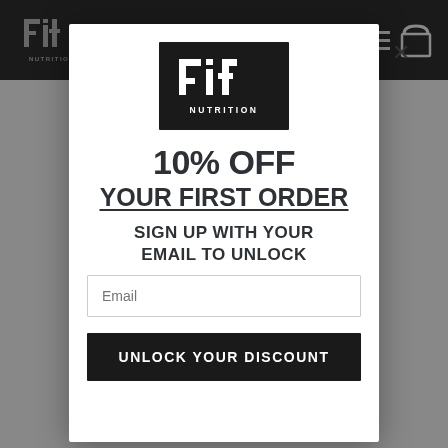[Figure (screenshot): Fit Nutrition website header with dark background, logo on left, hamburger menu and shopping bag icons on right]
[Figure (logo): Fit Nutrition logo: white stylized 'Fit' text with crossbar detail and 'NUTRITION' below, on black square background]
10% OFF
YOUR FIRST ORDER
SIGN UP WITH YOUR EMAIL TO UNLOCK
Email
UNLOCK YOUR DISCOUNT